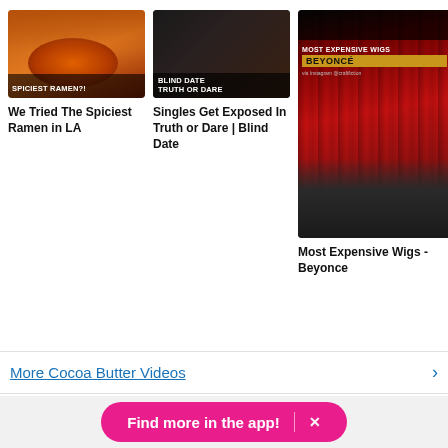[Figure (screenshot): Thumbnail for 'We Tried The Spiciest Ramen in LA' video showing people eating with text SPICIEST RAMEN?!]
We Tried The Spiciest Ramen in LA
[Figure (screenshot): Thumbnail for 'Singles Get Exposed In Truth or Dare | Blind Date' video with overlay text BLIND DATE TRUTH OR DARE]
Singles Get Exposed In Truth or Dare | Blind Date
[Figure (screenshot): Tall portrait thumbnail for 'Most Expensive Wigs - Beyonce' with red curtain background and overlay text MOST EXPENSIVE WIGS BEYONCE]
Most Expensive Wigs - Beyonce
More Cocoa Butter Videos
Find more in the app!